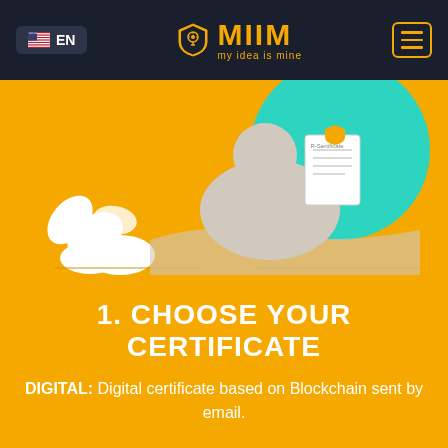EN | MIIM my idea is mine
[Figure (illustration): Illustration of a person with a document and blockchain-related imagery on an orange background with teal circle and plant elements]
1. CHOOSE YOUR CERTIFICATE
DIGITAL: Digital certificate based on Blockchain sent by email.